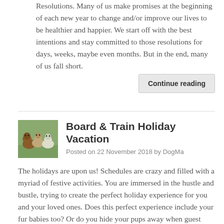Resolutions. Many of us make promises at the beginning of each new year to change and/or improve our lives to be healthier and happier. We start off with the best intentions and stay committed to those resolutions for days, weeks, maybe even months. But in the end, many of us fall short.
Continue reading
[Figure (photo): Thumbnail photo of dogs, appearing to show puppies or small dogs outdoors on green grass]
Board & Train Holiday Vacation
Posted on 22 November 2018 by DogMa
The holidays are upon us! Schedules are crazy and filled with a myriad of festive activities. You are immersed in the hustle and bustle, trying to create the perfect holiday experience for you and your loved ones. Does this perfect experience include your fur babies too? Or do you hide your pups away when guest arrive? Do you need to leave your pups behind